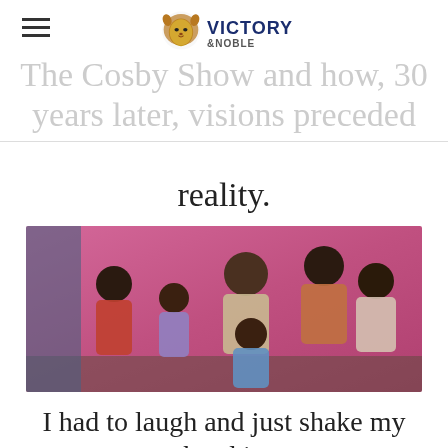Victory & Noble (logo)
The Cosby Show and how, 30 years later, visions preceded reality.
[Figure (photo): Group promotional photo of the cast of The Cosby Show — six people including adults and children posing together against a pink/purple background]
I had to laugh and just shake my head in